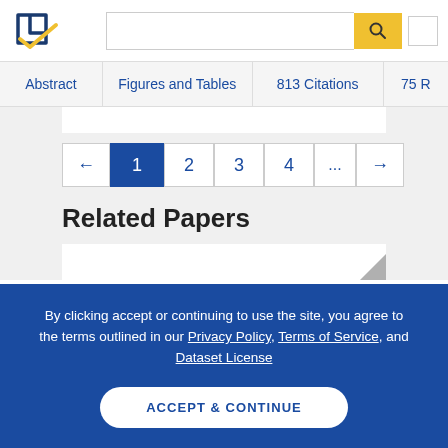Semantic Scholar header with logo, search bar, and search button
Abstract | Figures and Tables | 813 Citations | 75 R
Pagination: ← 1 2 3 4 ... →
Related Papers
By clicking accept or continuing to use the site, you agree to the terms outlined in our Privacy Policy, Terms of Service, and Dataset License
ACCEPT & CONTINUE